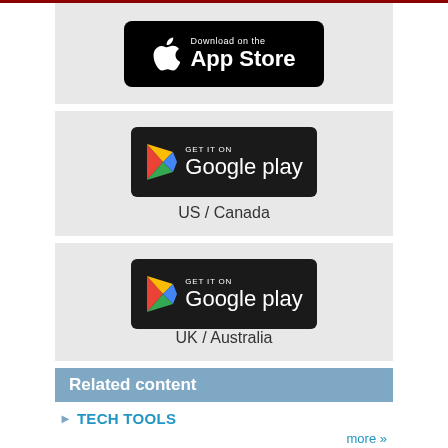[Figure (logo): Download on the App Store button - black rounded rectangle with Apple logo]
[Figure (logo): GET IT ON Google Play button - black rounded rectangle with Play Store logo, US / Canada label below]
US / Canada
[Figure (logo): GET IT ON Google Play button - black rounded rectangle with Play Store logo, UK / Australia label below]
UK / Australia
Related content
TECH TOOLS
more »
Compiz Fusion 0.5.2 Reunion Release
The Compiz project has just released the first developer version of its 3D window manager after the reunion with Beryl.
more »
BackTrack 5 "revolution" Rolls Out
BackTrack, an Ubuntu-based penetration-testing distribution, offers "major improvements" over previous releases, including